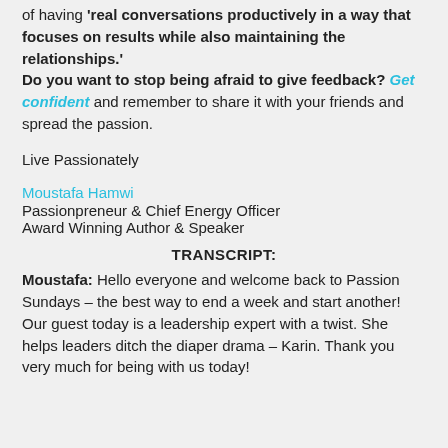of having 'real conversations productively in a way that focuses on results while also maintaining the relationships.' Do you want to stop being afraid to give feedback? Get confident and remember to share it with your friends and spread the passion.
Live Passionately
Moustafa Hamwi
Passionpreneur & Chief Energy Officer
Award Winning Author & Speaker
TRANSCRIPT:
Moustafa: Hello everyone and welcome back to Passion Sundays – the best way to end a week and start another! Our guest today is a leadership expert with a twist. She helps leaders ditch the diaper drama – Karin. Thank you very much for being with us today!